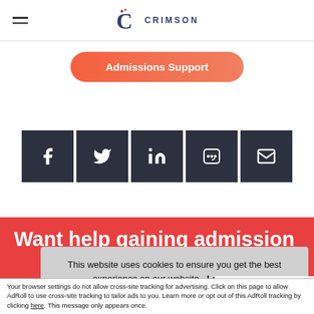Crimson Education — navigation header with hamburger menu and logo
Admissions Support
[Figure (infographic): Row of 5 social media share buttons: Facebook, Twitter, LinkedIn, Line, Email — dark square buttons with white icons]
Want help gaining admission
This website uses cookies to ensure you get the best experience on our website. Learn more
Accept and Close ✕
Your browser settings do not allow cross-site tracking for advertising. Click on this page to allow AdRoll to use cross-site tracking to tailor ads to you. Learn more or opt out of this AdRoll tracking by clicking here. This message only appears once.